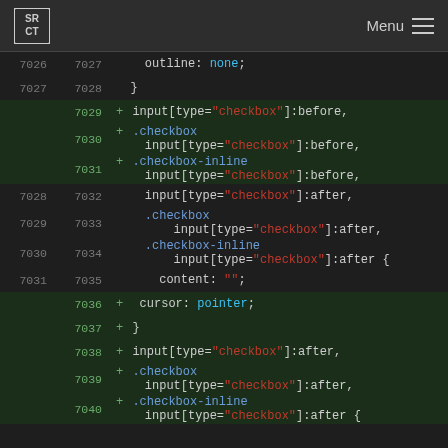SRCT Menu
Code diff viewer showing CSS lines 7026-7040